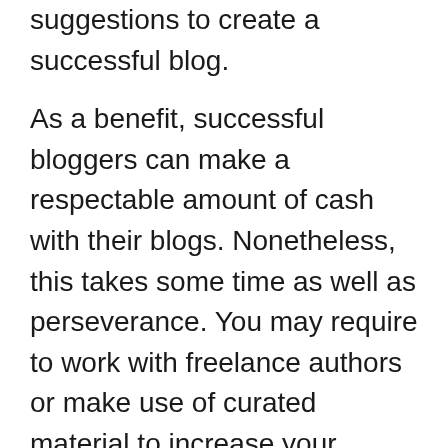suggestions to create a successful blog.
As a benefit, successful bloggers can make a respectable amount of cash with their blogs. Nonetheless, this takes some time as well as perseverance. You may require to work with freelance authors or make use of curated material to increase your readership. As with any other occupation, successful blogging takes some time and also effort. However, there are numerous advantages to blogging. With enough commitment, you can develop as well as grow a blog that will certainly be profitable and also enjoyable. If you adhere to the pointers over, you can develop a successful blog site with marginal prices.